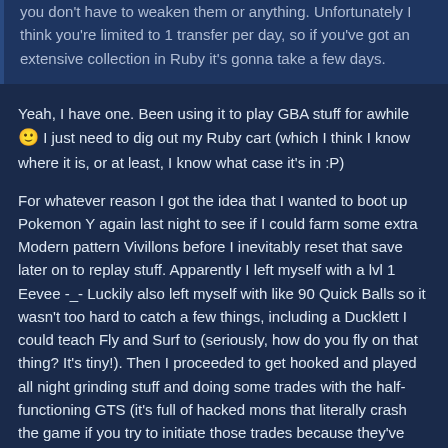you don't have to weaken them or anything. Unfortunately I think you're limited to 1 transfer per day, so if you've got an extensive collection in Ruby it's gonna take a few days.
Yeah, I have one. Been using it to play GBA stuff for awhile 🙂 I just need to dig out my Ruby cart (which I think I know where it is, or at least, I know what case it's in :P)
For whatever reason I got the idea that I wanted to boot up Pokemon Y again last night to see if I could farm some extra Modern pattern Vivillons before I inevitably reset that save later on to replay stuff. Apparently I left myself with a lvl 1 Eevee -_- Luckily also left myself with like 90 Quick Balls so it wasn't too hard to catch a few things, including a Ducklett I could teach Fly and Surf to (seriously, how do you fly on that thing? It's tiny!). Then I proceeded to get hooked and played all night grinding stuff and doing some trades with the half-functioning GTS (it's full of hacked mons that literally crash the game if you try to initiate those trades because they've overridden the Gender and Level values with invalid stuff - and of course, they're all like "Trade a zubat for a shiny Vivillon!"